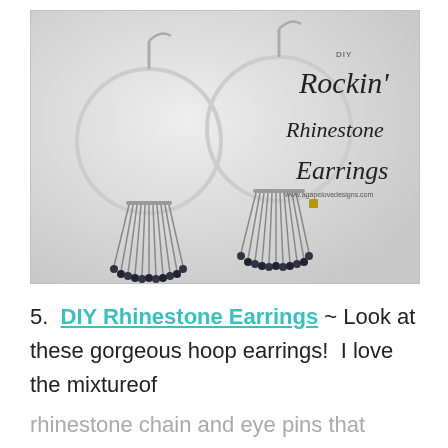[Figure (photo): Photo of DIY Rockin' Rhinestone Earrings — two large silver hoop earrings with dangling rhinestone chain and eye pin fringe, displayed on a light grey background. Text overlay reads 'DIY Rockin' Rhinestone Earrings www.agapelovedesigns.com'.]
5.  DIY Rhinestone Earrings ~ Look at these gorgeous hoop earrings!  I love the mixtureof rhinestone chain and eye pins that hangs from the hoops.  The step by step tutorial is so easy